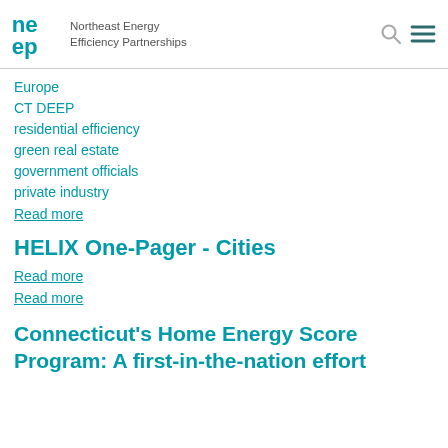Northeast Energy Efficiency Partnerships
Europe
CT DEEP
residential efficiency
green real estate
government officials
private industry
Read more
HELIX One-Pager - Cities
Read more
Read more
Connecticut's Home Energy Score Program: A first-in-the-nation effort